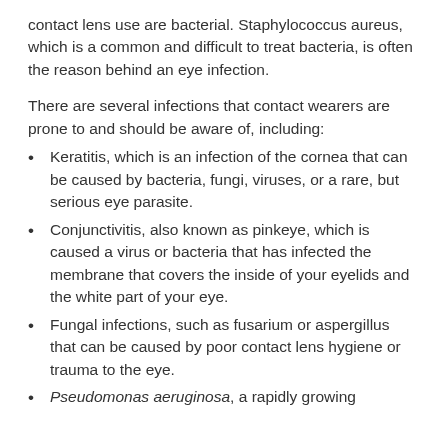contact lens use are bacterial. Staphylococcus aureus, which is a common and difficult to treat bacteria, is often the reason behind an eye infection.
There are several infections that contact wearers are prone to and should be aware of, including:
Keratitis, which is an infection of the cornea that can be caused by bacteria, fungi, viruses, or a rare, but serious eye parasite.
Conjunctivitis, also known as pinkeye, which is caused a virus or bacteria that has infected the membrane that covers the inside of your eyelids and the white part of your eye.
Fungal infections, such as fusarium or aspergillus that can be caused by poor contact lens hygiene or trauma to the eye.
Pseudomonas aeruginosa, a rapidly growing...